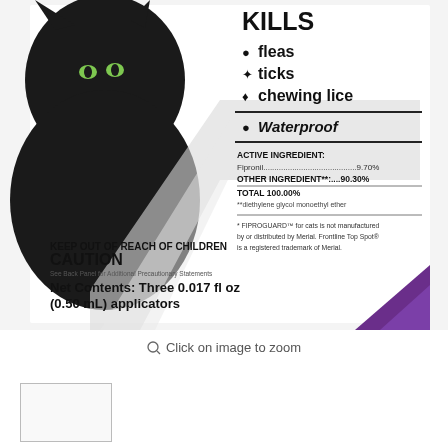[Figure (photo): Product packaging for Fiproguard for cats. Shows a black cat with green eyes on the left side of the package. Right side shows text: KILLS fleas, ticks, chewing lice; Waterproof; Active Ingredient: Fipronil 9.70%; Other Ingredient**: 90.30%; Total 100.00%; **diethylene glycol monoethyl ether; KEEP OUT OF REACH OF CHILDREN CAUTION; Net Contents: Three 0.017 fl oz (0.50 mL) applicators. Purple triangle in lower right corner.]
Click on image to zoom
[Figure (photo): Small thumbnail image of the product packaging]